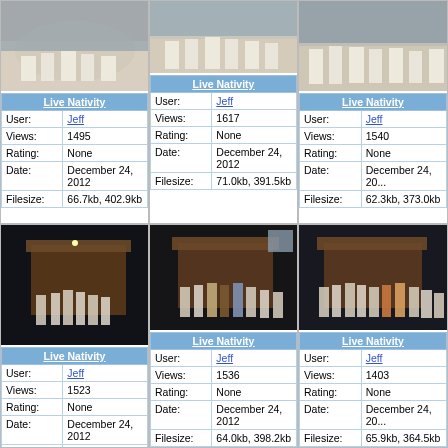[Figure (photo): Live Nativity scene with people in white robes in snow, top-left]
| Live Nativity |
| User: | Jeff |
| Views: | 1495 |
| Rating: | None |
| Date: | December 24, 2012 |
| Filesize: | 66.7kb, 402.9kb |
[Figure (photo): Live Nativity scene with people in robes, top-center]
| Live Nativity |
| User: | Jeff |
| Views: | 1617 |
| Rating: | None |
| Date: | December 24, 2012 |
| Filesize: | 71.0kb, 391.5kb |
[Figure (photo): Live Nativity scene with people in robes, top-right]
| Live Nativity |
| User: | Jeff |
| Views: | 1540 |
| Rating: | None |
| Date: | December 24, 2012 |
| Filesize: | 62.3kb, 373.0kb |
[Figure (photo): Live Nativity nighttime scene with stable, bottom-left]
| Live Nativity |
| User: | Jeff |
| Views: | 1523 |
| Rating: | None |
| Date: | December 24, 2012 |
| Filesize: | 66.2kb, 399.7kb |
[Figure (photo): Live Nativity nighttime scene with stable, bottom-center]
| Live Nativity |
| User: | Jeff |
| Views: | 1536 |
| Rating: | None |
| Date: | December 24, 2012 |
| Filesize: | 64.0kb, 398.2kb |
[Figure (photo): Live Nativity nighttime scene with stable, bottom-right]
| Live Nativity |
| User: | Jeff |
| Views: | 1403 |
| Rating: | None |
| Date: | December 24, 2012 |
| Filesize: | 65.9kb, 364.5kb |